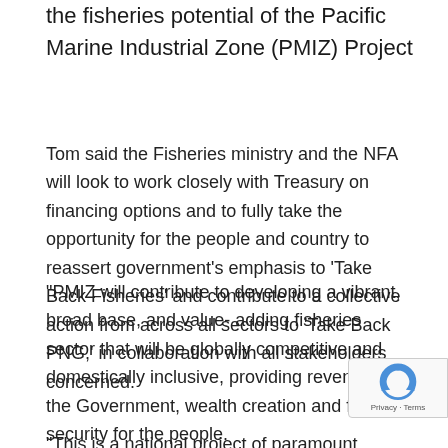the fisheries potential of the Pacific Marine Industrial Zone (PMIZ) Project
Tom said the Fisheries ministry and the NFA will look to work closely with Treasury on financing options and to fully take the opportunity for the people and country to reassert government's emphasis to 'Take Back Fisheries' and contribute to a collective action from across all sectors to 'Take Back PNG,' in collaboration with all stakeholders concerned.
"PMIZ will contribute to developing a vibrant, broad base, and value- adding fisheries sector that will be globally competitive and domestically inclusive, providing revenue for the Government, wealth creation and food security for the people.
"This is a national project of paramount importance that will